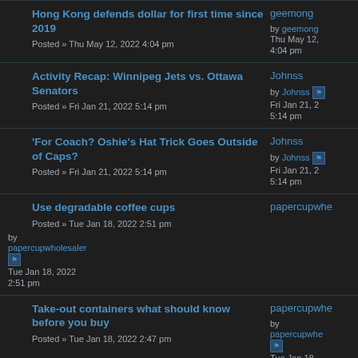Hong Kong defends dollar for first time since 2019
Posted » Thu May 12, 2022 4:04 pm
geemong
by geemong Thu May 12, 4:04 pm
Activity Recap: Winnipeg Jets vs. Ottawa Senators
Posted » Fri Jan 21, 2022 5:14 pm
Johnss
by Johnss Fri Jan 21, 2 5:14 pm
'For Coach? Oshie's Hat Trick Goes Outside of Caps?
Posted » Fri Jan 21, 2022 5:14 pm
Johnss
by Johnss Fri Jan 21, 2 5:14 pm
Use degradable coffee cups
Posted » Tue Jan 18, 2022 2:51 pm
papercupwholesaler
by papercupwholesaler Tue Jan 18, 2022 2:51 pm
Take-out containers what should know before you buy
Posted » Tue Jan 18, 2022 2:47 pm
papercupwholesaler
by papercupwholesaler Tue Jan 18